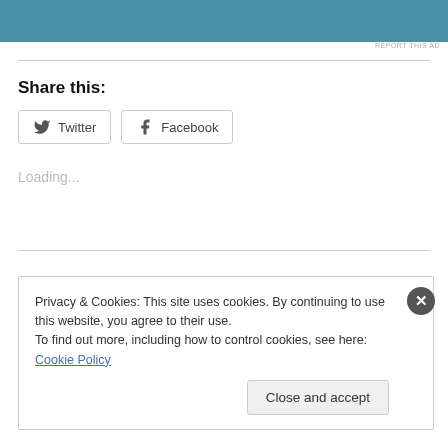[Figure (other): Blue advertisement banner at top of page]
REPORT THIS AD
Share this:
Twitter  Facebook
Loading...
Privacy & Cookies: This site uses cookies. By continuing to use this website, you agree to their use.
To find out more, including how to control cookies, see here: Cookie Policy
Close and accept